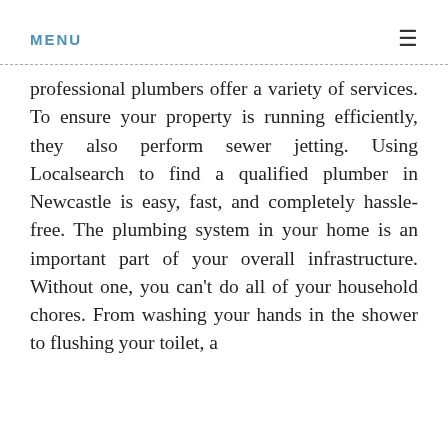MENU ≡
professional plumbers offer a variety of services. To ensure your property is running efficiently, they also perform sewer jetting. Using Localsearch to find a qualified plumber in Newcastle is easy, fast, and completely hassle-free. The plumbing system in your home is an important part of your overall infrastructure. Without one, you can't do all of your household chores. From washing your hands in the shower to flushing your toilet, a